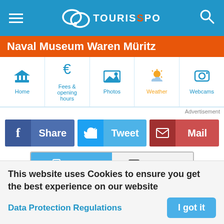[Figure (screenshot): TouriSpo website header navigation bar with hamburger menu, TouriSpo logo and search icon on blue background]
Naval Museum Waren Müritz
[Figure (screenshot): Navigation icon row with Home, Fees & opening hours, Photos, Weather, Webcams tabs]
Advertisement
[Figure (screenshot): Social share buttons: Share (Facebook), Tweet (Twitter), Mail]
[Figure (screenshot): Mobile/Desktop view toggle buttons]
TouriSpo
Projects
Legal Notice
Snow Online
This website uses Cookies to ensure you get the best experience on our website
Data Protection Regulations
I got it